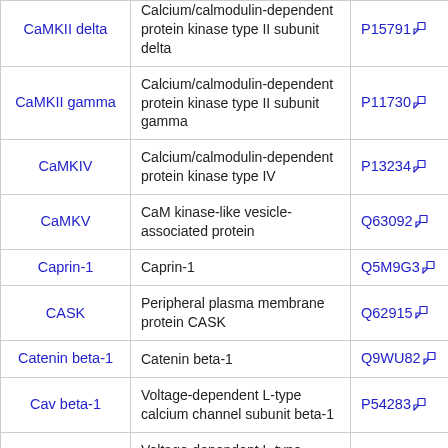| Gene | Description | UniProt |
| --- | --- | --- |
| CaMKII delta | Calcium/calmodulin-dependent protein kinase type II subunit delta | P15791 |
| CaMKII gamma | Calcium/calmodulin-dependent protein kinase type II subunit gamma | P11730 |
| CaMKIV | Calcium/calmodulin-dependent protein kinase type IV | P13234 |
| CaMKV | CaM kinase-like vesicle-associated protein | Q63092 |
| Caprin-1 | Caprin-1 | Q5M9G3 |
| CASK | Peripheral plasma membrane protein CASK | Q62915 |
| Catenin beta-1 | Catenin beta-1 | Q9WU82 |
| Cav beta-1 | Voltage-dependent L-type calcium channel subunit beta-1 | P54283 |
| Cav beta-2 | Voltage-dependent L-type calcium channel subunit beta-2 | Q8VGC3 |